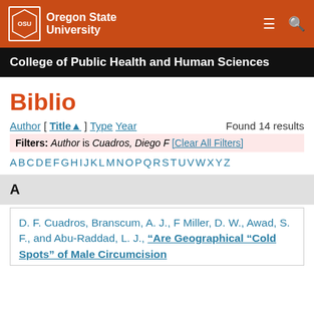Oregon State University — College of Public Health and Human Sciences
Biblio
Author [ Title▲ ] Type Year   Found 14 results
Filters: Author is Cuadros, Diego F [Clear All Filters]
A B C D E F G H I J K L M N O P Q R S T U V W X Y Z
A
D. F. Cuadros, Branscum, A. J., F Miller, D. W., Awad, S. F., and Abu-Raddad, L. J., "Are Geographical "Cold Spots" of Male Circumcision